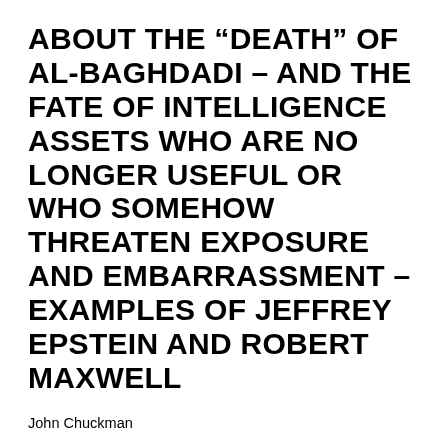ABOUT THE “DEATH” OF AL-BAGHDADI – AND THE FATE OF INTELLIGENCE ASSETS WHO ARE NO LONGER USEFUL OR WHO SOMEHOW THREATEN EXPOSURE AND EMBARRASSMENT – EXAMPLES OF JEFFREY EPSTEIN AND ROBERT MAXWELL
John Chuckman
COMMENT POSTED TO AN ARTICLE BY ROGER